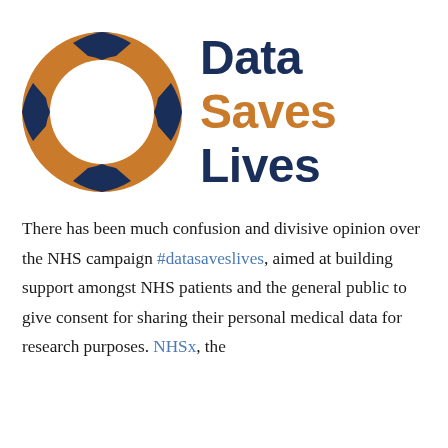[Figure (logo): Data Saves Lives logo: orange life-preserver ring with dark navy blue accent bands, beside bold text reading 'Data Saves Lives' with 'Data' and 'Lives' in navy and 'Saves' in orange]
There has been much confusion and divisive opinion over the NHS campaign #datasaveslives, aimed at building support amongst NHS patients and the general public to give consent for sharing their personal medical data for research purposes. NHSx, the